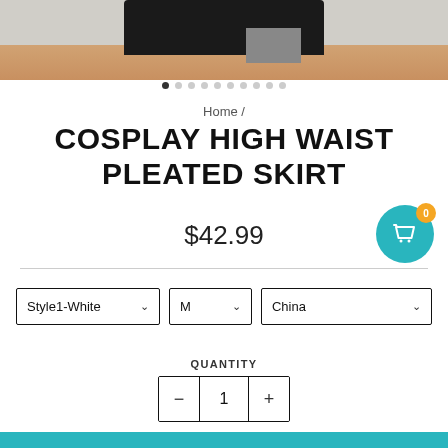[Figure (photo): Product photo showing lower body wearing a black cosplay high waist pleated skirt with gray panel detail, against a gray-beige wall background]
Home /
COSPLAY HIGH WAIST PLEATED SKIRT
$42.99
Style1-White  M  China
QUANTITY
1